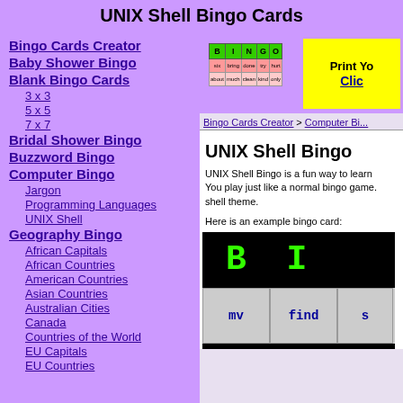UNIX Shell Bingo Cards
Bingo Cards Creator
Baby Shower Bingo
Blank Bingo Cards
3 x 3
5 x 5
7 x 7
Bridal Shower Bingo
Buzzword Bingo
Computer Bingo
Jargon
Programming Languages
UNIX Shell
Geography Bingo
African Capitals
African Countries
American Countries
Asian Countries
Australian Cities
Canada
Countries of the World
EU Capitals
EU Countries
[Figure (screenshot): Bingo card preview with BINGO header in green and sample words, plus yellow Print Your Own banner]
Bingo Cards Creator > Computer Bi...
UNIX Shell Bingo
UNIX Shell Bingo is a fun way to learn... You play just like a normal bingo game. shell theme.
Here is an example bingo card:
[Figure (screenshot): Example bingo card showing B and I letters in green on black background, with mv and find in cells below]